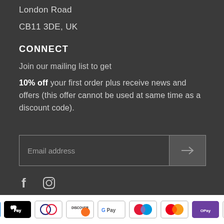London Road
CB11 3DE, UK
CONNECT
Join our mailing list to get
10% off your first order plus receive news and offers (this offer cannot be used at same time as a discount code).
[Figure (other): Email address input form with arrow submit button]
[Figure (other): Social media icons: Facebook and Instagram]
[Figure (other): Payment method logos: AMEX, Apple Pay, Diners Club, Discover, Google Pay, Maestro, Mastercard, OPay, VISA]